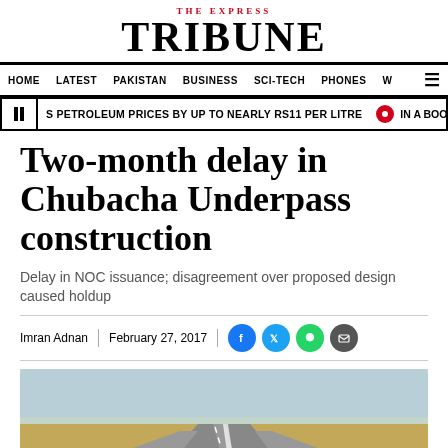THE EXPRESS TRIBUNE
HOME   LATEST   PAKISTAN   BUSINESS   SCI-TECH   PHONES   W
S PETROLEUM PRICES BY UP TO NEARLY RS11 PER LITRE   IN A BOOST TO DWIND
Two-month delay in Chubacha Underpass construction
Delay in NOC issuance; disagreement over proposed design caused holdup
Imran Adnan   February 27, 2017
[Figure (photo): Aerial view of a highway road construction with multiple lanes, surrounded by barren landscape, light blue sky in background]